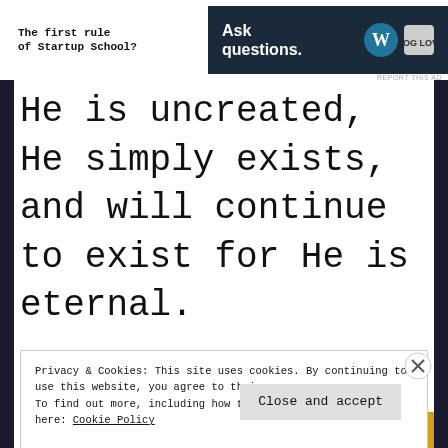[Figure (screenshot): Top advertisement banner: left side shows text 'The first rule of Startup School?' and right side shows dark navy banner with 'Ask questions.' text and WordPress logo]
He is uncreated, He simply exists, and will continue to exist for He is eternal.
Privacy & Cookies: This site uses cookies. By continuing to use this website, you agree to their use.
To find out more, including how to control cookies, see here: Cookie Policy
[Figure (screenshot): Bottom advertisement banner with colorful gradient background showing partial text 'stories.']